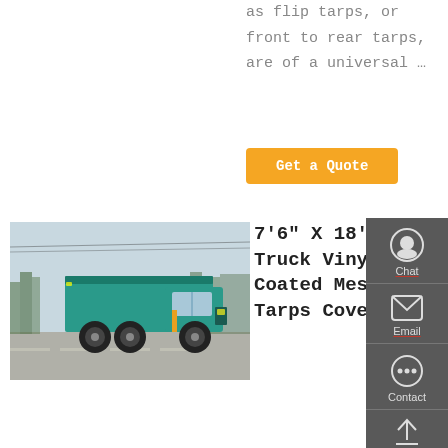as flip tarps, or front to rear tarps, are of a universal …
Get a Quote
[Figure (photo): A teal/blue dump truck on a road with trees in the background]
7'6" X 18' Dump Truck Vinyl Coated Mesh Tarps Cover With …
Dump Truck operators can maximize their efficiency and decrease their workload by